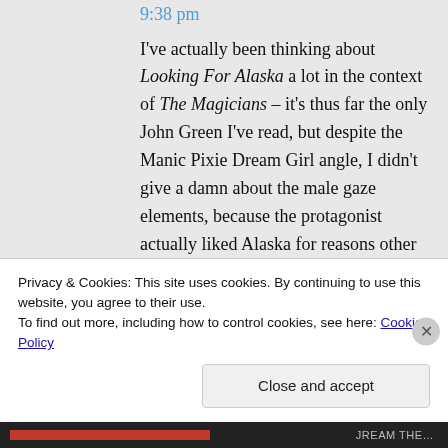9:38 pm
I've actually been thinking about Looking For Alaska a lot in the context of The Magicians – it's thus far the only John Green I've read, but despite the Manic Pixie Dream Girl angle, I didn't give a damn about the male gaze elements, because the protagonist actually liked Alaska for reasons other than her body, and made for a decent
Privacy & Cookies: This site uses cookies. By continuing to use this website, you agree to their use.
To find out more, including how to control cookies, see here: Cookie Policy
Close and accept